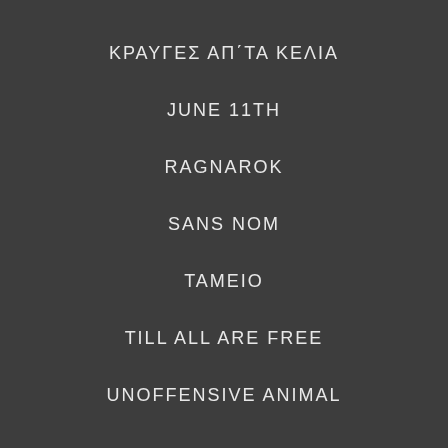ΚΡΑΥΓΕΣ ΑΠ΄ΤΑ ΚΕΛΙΑ
JUNE 11TH
RAGNAROK
SANS NOM
ΤΑΜΕΙΟ
TILL ALL ARE FREE
UNOFFENSIVE ANIMAL